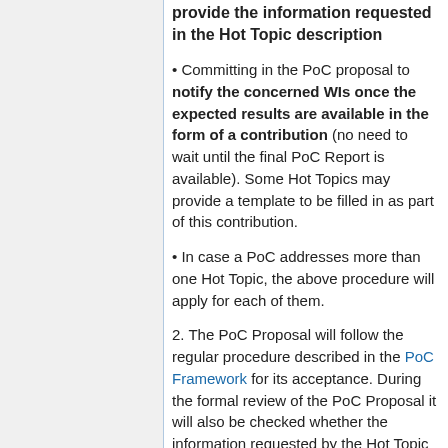provide the information requested in the Hot Topic description
Committing in the PoC proposal to notify the concerned WIs once the expected results are available in the form of a contribution (no need to wait until the final PoC Report is available). Some Hot Topics may provide a template to be filled in as part of this contribution.
In case a PoC addresses more than one Hot Topic, the above procedure will apply for each of them.
2. The PoC Proposal will follow the regular procedure described in the PoC Framework for its acceptance. During the formal review of the PoC Proposal it will also be checked whether the information requested by the Hot Topic is effectively committed in the PoC Proposal. Once accepted, the PoC will